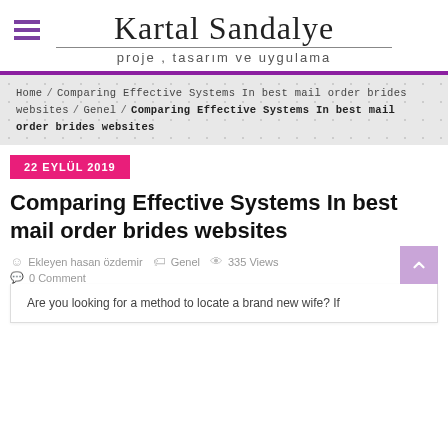Kartal Sandalye — proje , tasarım ve uygulama
Home / Comparing Effective Systems In best mail order brides websites / Genel / Comparing Effective Systems In best mail order brides websites
22 EYLÜL 2019
Comparing Effective Systems In best mail order brides websites
Ekleyen hasan özdemir   Genel   335 Views   0 Comment
Are you looking for a method to locate a brand new wife? If